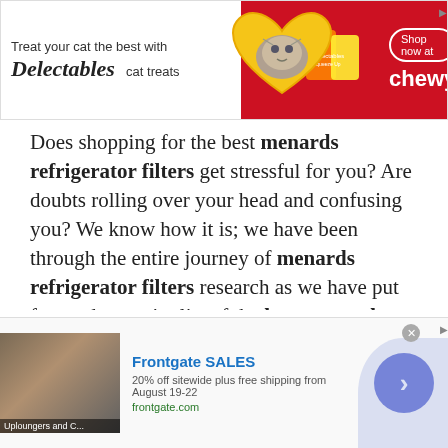[Figure (other): Top advertisement banner for Delectables cat treats by Chewy. Shows cat image in heart shape, red background with product images, 'Shop now at chewy' button.]
Does shopping for the best menards refrigerator filters get stressful for you? Are doubts rolling over your head and confusing you? We know how it is; we have been through the entire journey of menards refrigerator filters research as we have put forward an entire list of the best menards refrigerator filters available in the market these days. We have brainstormed a few questions that most of
[Figure (other): Bottom advertisement banner for Frontgate SALES. Shows outdoor furniture with fire pit image, text '20% off sitewide plus free shipping from August 19-22', frontgate.com URL, and arrow button.]